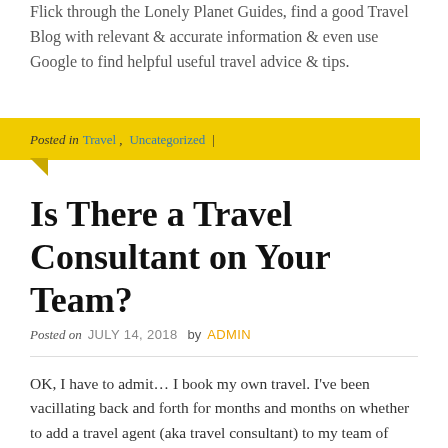Flick through the Lonely Planet Guides, find a good Travel Blog with relevant & accurate information & even use Google to find helpful useful travel advice & tips.
Posted in Travel, Uncategorized |
Is There a Travel Consultant on Your Team?
Posted on JULY 14, 2018 by ADMIN
OK, I have to admit… I book my own travel. I've been vacillating back and forth for months and months on whether to add a travel agent (aka travel consultant) to my team of experts that help make my life easier and I just haven't done it yet. Now don't get too impressed that I have a 'team of experts' – the list is short. It includes the lawn guy who's also now the pest control guy, the maid, my hair stylist, my all important driver to